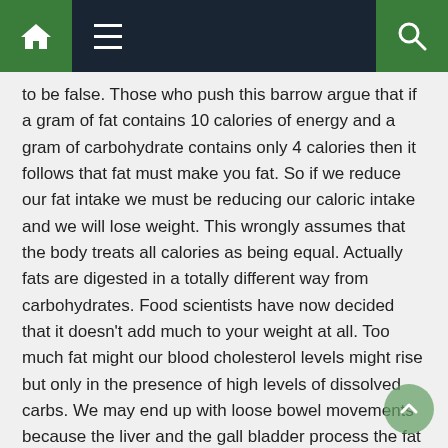Navigation bar with home, menu, and search icons
to be false. Those who push this barrow argue that if a gram of fat contains 10 calories of energy and a gram of carbohydrate contains only 4 calories then it follows that fat must make you fat. So if we reduce our fat intake we must be reducing our caloric intake and we will lose weight. This wrongly assumes that the body treats all calories as being equal. Actually fats are digested in a totally different way from carbohydrates. Food scientists have now decided that it doesn't add much to your weight at all. Too much fat might our blood cholesterol levels might rise but only in the presence of high levels of dissolved carbs. We may end up with loose bowel movements because the liver and the gall bladder process the fat and eliminate it. Low fat foods don't really make you thinner but they do make food producers rich.